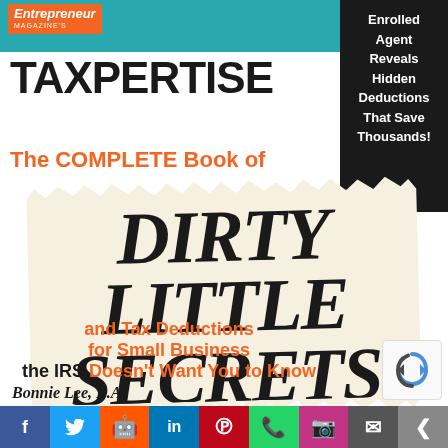[Figure (illustration): Book cover of Taxpertise: The Complete Book of Dirty Little Secrets and Tax Deductions for Small Business the IRS Doesn't Want You to Know, by Bonnie Lee, E.A. Published by Entrepreneur Magazine. Features teal header, black side panel reading 'Enrolled Agent Reveals Hidden Deductions That Save Thousands!', large bold title text, torn paper graphic with 'Dirty Little Secrets' in stylized font, orange and black subtitle, author name, and social media sharing bar at bottom.]